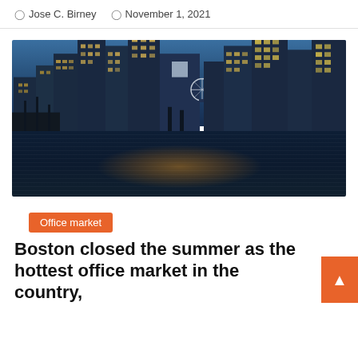Jose C. Birney   November 1, 2021
[Figure (photo): Boston city skyline at night/dusk reflected in harbor water, with illuminated skyscrapers and a Ferris wheel visible]
Office market
Boston closed the summer as the hottest office market in the country,